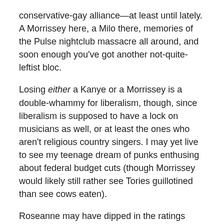conservative-gay alliance—at least until lately.  A Morrissey here, a Milo there, memories of the Pulse nightclub massacre all around, and soon enough you've got another not-quite-leftist bloc.
Losing either a Kanye or a Morrissey is a double-whammy for liberalism, though, since liberalism is supposed to have a lock on musicians as well, or at least the ones who aren't religious country singers. I may yet live to see my teenage dream of punks enthusing about federal budget cuts (though Morrissey would likely still rather see Tories guillotined than see cows eaten).
Roseanne may have dipped in the ratings since her season premiere, but there's no question she caused a seismic ripple with the idea that a likable, funny, working-class family might plausibly prefer Trump to the establishment. They could quote Karl